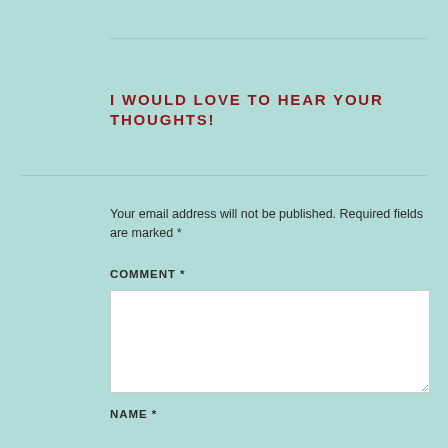I WOULD LOVE TO HEAR YOUR THOUGHTS!
Your email address will not be published. Required fields are marked *
COMMENT *
NAME *